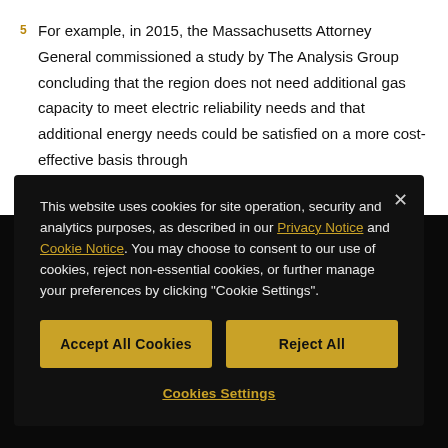5 For example, in 2015, the Massachusetts Attorney General commissioned a study by The Analysis Group concluding that the region does not need additional gas capacity to meet electric reliability needs and that additional energy needs could be satisfied on a more cost-effective basis through
This website uses cookies for site operation, security and analytics purposes, as described in our Privacy Notice and Cookie Notice. You may choose to consent to our use of cookies, reject non-essential cookies, or further manage your preferences by clicking "Cookie Settings".
Accept All Cookies | Reject All | Cookies Settings